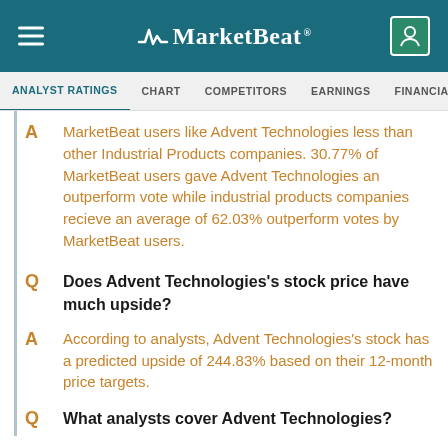MarketBeat
ANALYST RATINGS  CHART  COMPETITORS  EARNINGS  FINANCIALS  INSTI
A  MarketBeat users like Advent Technologies less than other Industrial Products companies. 30.77% of MarketBeat users gave Advent Technologies an outperform vote while industrial products companies recieve an average of 62.03% outperform votes by MarketBeat users.
Q  Does Advent Technologies's stock price have much upside?
A  According to analysts, Advent Technologies's stock has a predicted upside of 244.83% based on their 12-month price targets.
Q  What analysts cover Advent Technologies?